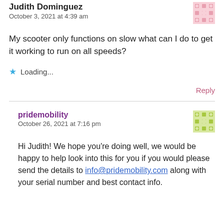Judith Dominguez
October 3, 2021 at 4:39 am
My scooter only functions on slow what can I do to get it working to run on all speeds?
Loading...
Reply
pridemobility
October 26, 2021 at 7:16 pm
Hi Judith! We hope you're doing well, we would be happy to help look into this for you if you would please send the details to info@pridemobility.com along with your serial number and best contact info.